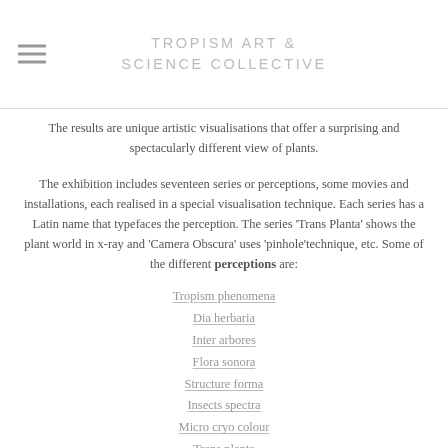TROPISM ART & SCIENCE COLLECTIVE
The results are unique artistic visualisations that offer a surprising and spectacularly different view of plants.
The exhibition includes seventeen series or perceptions, some movies and installations, each realised in a special visualisation technique. Each series has a Latin name that typefaces the perception. The series 'Trans Planta' shows the plant world in x-ray and 'Camera Obscura' uses 'pinhole'technique, etc. Some of the different perceptions are:
Tropism phenomena
Dia herbaria
Inter arbores
Flora sonora
Structure forma
Insects spectra
Micro cryo colour
Trans planta